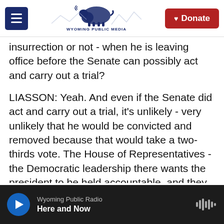Wyoming Public Media | Donate
insurrection or not - when he is leaving office before the Senate can possibly act and carry out a trial?
LIASSON: Yeah. And even if the Senate did act and carry out a trial, it's unlikely - very unlikely that he would be convicted and removed because that would take a two-thirds vote. The House of Representatives - the Democratic leadership there wants the president to be held accountable, and they feel that impeachment is the only way they have to do that. Censure is - in their mind, is insufficient. So that is a good question.
Wyoming Public Radio | Here and Now